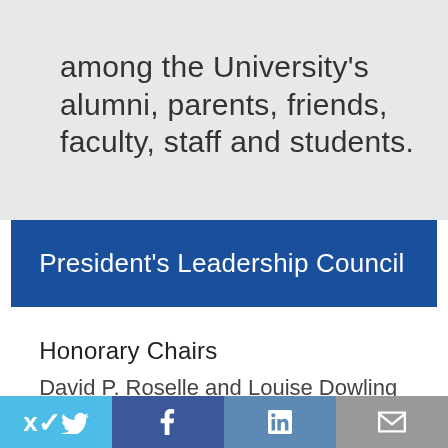among the University's alumni, parents, friends, faculty, staff and students.
President's Leadership Council
Honorary Chairs
David P. Roselle and Louise Dowling